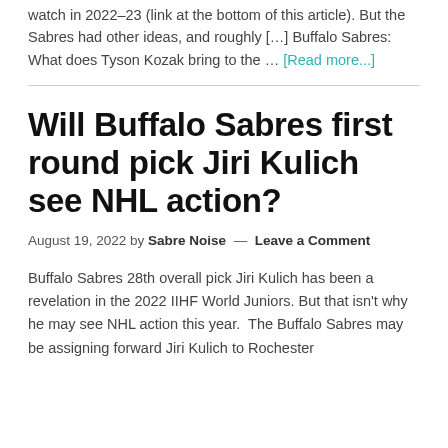watch in 2022–23 (link at the bottom of this article). But the Sabres had other ideas, and roughly [...] Buffalo Sabres: What does Tyson Kozak bring to the … [Read more...]
Will Buffalo Sabres first round pick Jiri Kulich see NHL action?
August 19, 2022 by Sabre Noise — Leave a Comment
Buffalo Sabres 28th overall pick Jiri Kulich has been a revelation in the 2022 IIHF World Juniors. But that isn't why he may see NHL action this year. The Buffalo Sabres may be assigning forward Jiri Kulich to Rochester